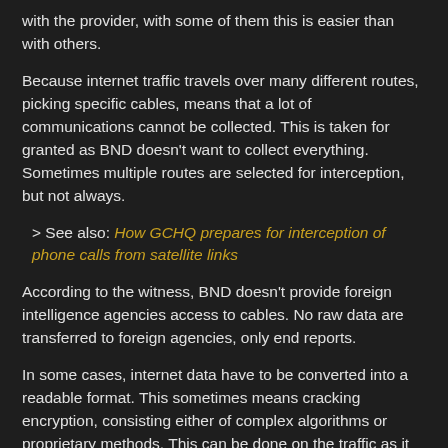with the provider, with some of them this is easier than with others.
Because internet traffic travels over many different routes, picking specific cables, means that a lot of communications cannot be collected. This is taken for granted as BND doesn't want to collect everything. Sometimes multiple routes are selected for interception, but not always.
> See also: How GCHQ prepares for interception of phone calls from satellite links
According to the witness, BND doesn't provide foreign intelligence agencies access to cables. No raw data are transferred to foreign agencies, only end reports.
In some cases, internet data have to be converted into a readable format. This sometimes means cracking encryption, consisting either of complex algorithms or proprietary methods. This can be done on the traffic as it flows past, or with data after having been stored in databases.